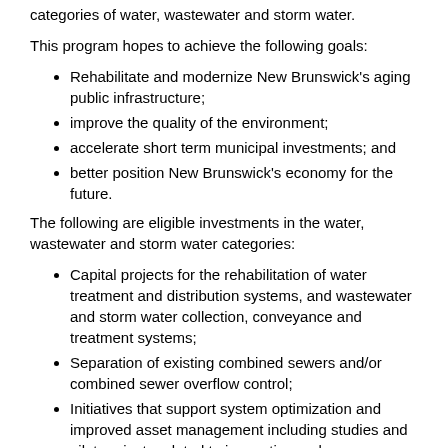categories of water, wastewater and storm water.
This program hopes to achieve the following goals:
Rehabilitate and modernize New Brunswick's aging public infrastructure;
improve the quality of the environment;
accelerate short term municipal investments; and
better position New Brunswick's economy for the future.
The following are eligible investments in the water, wastewater and storm water categories:
Capital projects for the rehabilitation of water treatment and distribution systems, and wastewater and storm water collection, conveyance and treatment systems;
Separation of existing combined sewers and/or combined sewer overflow control;
Initiatives that support system optimization and improved asset management including studies and pilot projects related to innovative and transformative technologies;
Design and planning for upgrades to wastewater treatment infrastructure to meet federal regulatory requirements; and
New construction projects, including the construction of naturalized systems for management and treatment of